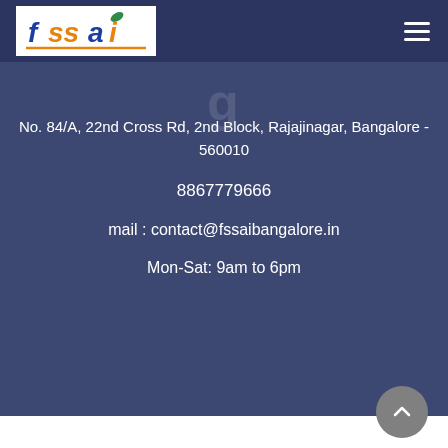[Figure (logo): FSSAI logo with stylized text in blue and orange on white background, with a green leaf above the letter i]
No. 84/A, 22nd Cross Rd, 2nd Block, Rajajinagar, Bangalore - 560010
8867779666
mail : contact@fssaibangalore.in
Mon-Sat: 9am to 6pm